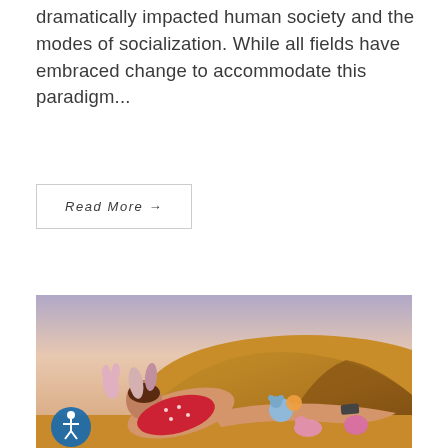dramatically impacted human society and the modes of socialization. While all fields have embraced change to accommodate this paradigm...
Read More →
[Figure (illustration): A digital 3D-rendered illustration of a stylized figure in a red polka-dot outfit reclining on desert sand dunes under a pastel sunset sky, surrounded by colorful stuffed animal toys. An accessibility icon is visible in the lower left corner.]